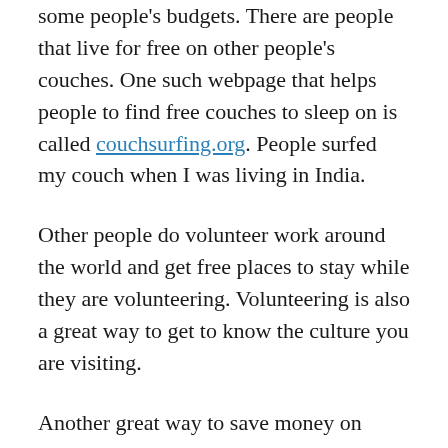some people's budgets. There are people that live for free on other people's couches. One such webpage that helps people to find free couches to sleep on is called couchsurfing.org. People surfed my couch when I was living in India.
Other people do volunteer work around the world and get free places to stay while they are volunteering. Volunteering is also a great way to get to know the culture you are visiting.
Another great way to save money on accommodations is to become a house sitter. I have a report on how to live for free by house sitting around the world. Check out that report